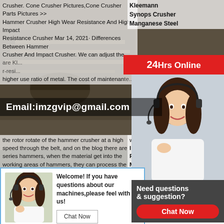Crusher. Cone Crusher Pictures,Cone Crusher Parts Pictures >> Hammer Crusher High Wear Resistance And High Impact Resistance Crusher Mar 14, 2021· Differences Between Hammer Crusher And Impact Crusher. We can adjust the... are Mn... r-resi... higher use ratio of metal. The cost of maintenance...
[Figure (photo): Industrial mining/crushing machinery in background]
Email:imzgvip@gmail.com
Kleemann
Synops Crusher
Manganese Steel
24Hrs Online
[Figure (photo): Customer service agent with headset, right sidebar]
[Figure (photo): Customer service agent with headset, chat popup]
Welcome! If you have questions about our machines,please feel with us!
Chat Now
Need questions & suggestion?
Chat Now
the rotor rotate of the hammer crusher at a high speed through the belt, and on the blog there are series hammers, when the material get into the working areas of hammers, they can process the hardest area with the maximal size of 1600 mm it is used Flywheel In the first step of... the stone crushing and hammer crusher,Hammer
which is through the Impact Crusher Pictures Crusher Mills, Cone Flywheel, Impact Crusher, Hammer Pictures,Impact